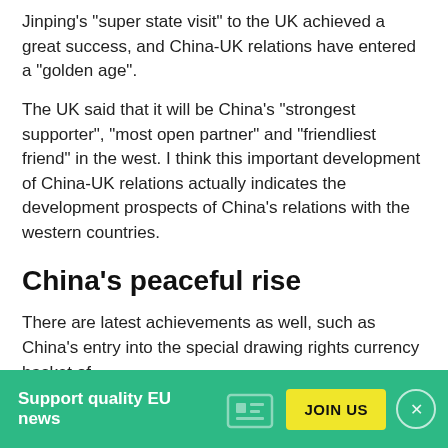Jinping's "super state visit" to the UK achieved a great success, and China-UK relations have entered a "golden age".
The UK said that it will be China's "strongest supporter", "most open partner" and "friendliest friend" in the west. I think this important development of China-UK relations actually indicates the development prospects of China's relations with the western countries.
China's peaceful rise
There are latest achievements as well, such as China's entry into the special drawing rights currency basket of
Support quality EU news  JOIN US